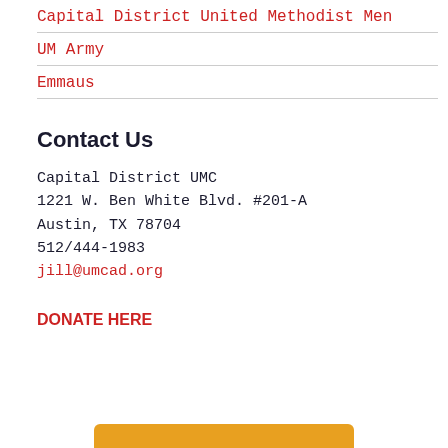Capital District United Methodist Men
UM Army
Emmaus
Contact Us
Capital District UMC
1221 W. Ben White Blvd. #201-A
Austin, TX 78704
512/444-1983
jill@umcad.org
DONATE HERE